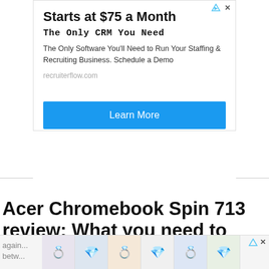[Figure (infographic): Advertisement box: 'Starts at $75 a Month / The Only CRM You Need / The Only Software You'll Need to Run Your Staffing & Recruiting Business. Schedule a Demo / recruiterflow.com / Learn More button']
Acer Chromebook Spin 713 review: What you need to know
This is a convertible 2-in-1 Chromebook with an unusual 3:2 aspect ratio screen. Like other Chrome OS and Windows convertibles, it uses a flexible, 360-degree hinge to allow you to tilt the screen back so far that it sits flush again... betw...
[Figure (other): Bottom advertisement bar with jewelry/ring images]